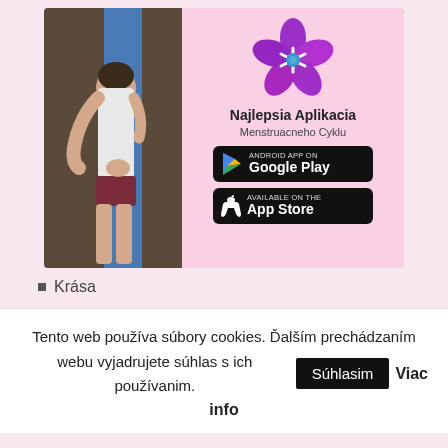[Figure (illustration): App advertisement banner showing a woman hugging a curtain on the left (photo), and on the pink right side: a purple flower logo, text 'Najlepsia Aplikacia Menstruacneho Cyklu', Google Play button, and App Store button.]
Krása
Tento web používa súbory cookies. Ďalším prechádzaním webu vyjadrujete súhlas s ich používanim. Súhlasim Viac info